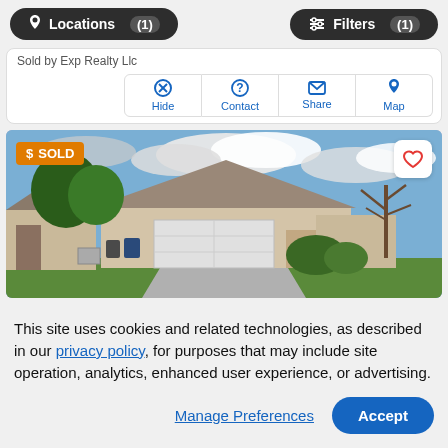Locations (1)   Filters (1)
Sold by Exp Realty Llc
Hide   Contact   Share   Map
[Figure (photo): Photo of a single-story residential home with two-car garage, beige/tan stucco exterior, trees in yard, blue sky with clouds. Sold badge in upper-left corner. Heart/favorite button in upper-right.]
This site uses cookies and related technologies, as described in our privacy policy, for purposes that may include site operation, analytics, enhanced user experience, or advertising.
Manage Preferences   Accept